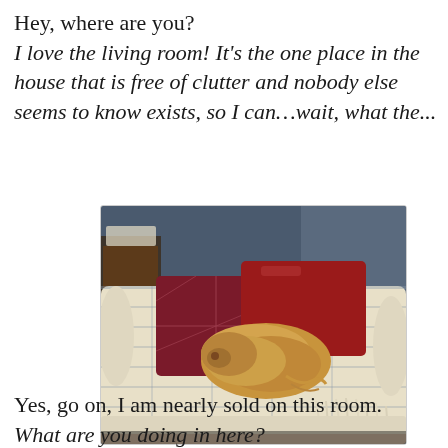Hey, where are you? I love the living room! It's the one place in the house that is free of clutter and nobody else seems to know exists, so I can…wait, what the...
[Figure (photo): A small fluffy tan/golden dog curled up and resting on a cream/beige striped sofa with dark red and maroon decorative pillows. The room has a dark blue wall in the background.]
Yes, go on, I am nearly sold on this room. What are you doing in here?